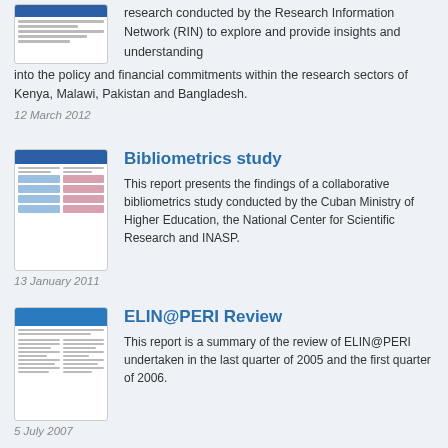research conducted by the Research Information Network (RIN) to explore and provide insights and understanding into the policy and financial commitments within the research sectors of Kenya, Malawi, Pakistan and Bangladesh.
12 March 2012
Bibliometrics study
This report presents the findings of a collaborative bibliometrics study conducted by the Cuban Ministry of Higher Education, the National Center for Scientific Research and INASP.
13 January 2011
ELIN@PERI Review
This report is a summary of the review of ELIN@PERI undertaken in the last quarter of 2005 and the first quarter of 2006.
5 July 2007